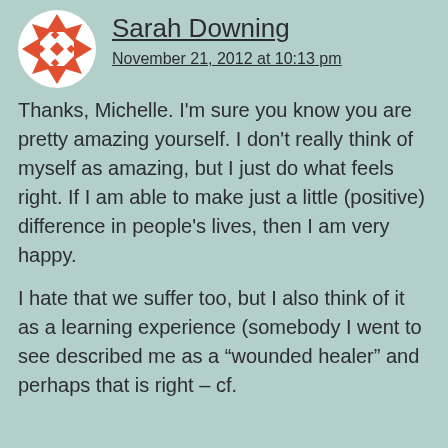[Figure (illustration): Circular avatar icon with red/orange snowflake-like geometric pattern on white background]
Sarah Downing
November 21, 2012 at 10:13 pm
Thanks, Michelle. I’m sure you know you are pretty amazing yourself. I don’t really think of myself as amazing, but I just do what feels right. If I am able to make just a little (positive) difference in people’s lives, then I am very happy.
I hate that we suffer too, but I also think of it as a learning experience (somebody I went to see described me as a “wounded healer” and perhaps that is right – cf.